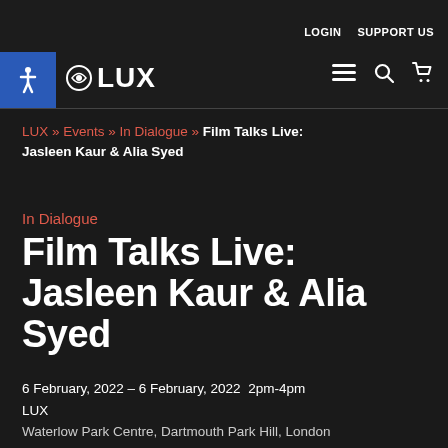LUX  LOGIN  SUPPORT US
LUX » Events » In Dialogue » Film Talks Live: Jasleen Kaur & Alia Syed
In Dialogue
Film Talks Live: Jasleen Kaur & Alia Syed
6 February, 2022 – 6 February, 2022  2pm-4pm
LUX
Waterlow Park Centre, Dartmouth Park Hill, London